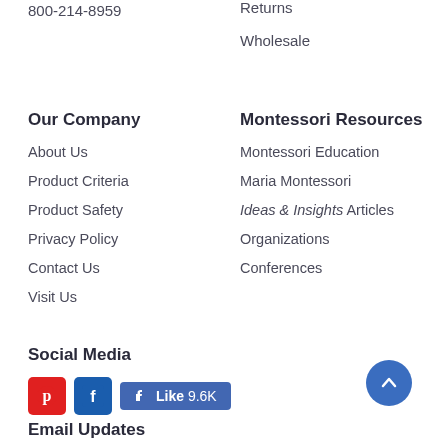800-214-8959
Returns
Wholesale
Our Company
About Us
Product Criteria
Product Safety
Privacy Policy
Contact Us
Visit Us
Montessori Resources
Montessori Education
Maria Montessori
Ideas & Insights Articles
Organizations
Conferences
Social Media
[Figure (infographic): Pinterest icon (red), Facebook icon (dark blue), Facebook Like button showing 9.6K likes]
Email Updates